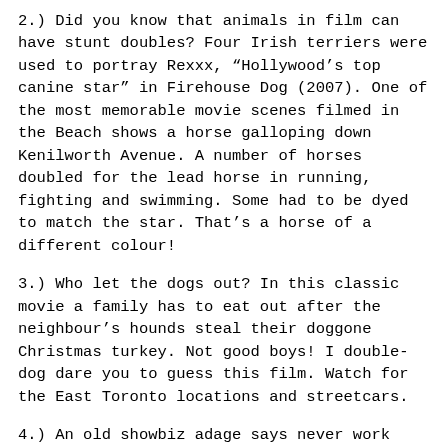2.) Did you know that animals in film can have stunt doubles? Four Irish terriers were used to portray Rexxx, “Hollywood’s top canine star” in Firehouse Dog (2007). One of the most memorable movie scenes filmed in the Beach shows a horse galloping down Kenilworth Avenue. A number of horses doubled for the lead horse in running, fighting and swimming. Some had to be dyed to match the star. That’s a horse of a different colour!
3.) Who let the dogs out? In this classic movie a family has to eat out after the neighbour’s hounds steal their doggone Christmas turkey. Not good boys! I double-dog dare you to guess this film. Watch for the East Toronto locations and streetcars.
4.) An old showbiz adage says never work with children or animals. A baboon named Typhoon was difficult to control on set and the biggest animal star in this science fiction thriller, but the title went to a very small creature. Be afraid, be very afraid and don’t try this experiment at home.
5.) The reindeer are animatronic in this seasonal comedy except for one scene filmed at the Toronto Zoo.